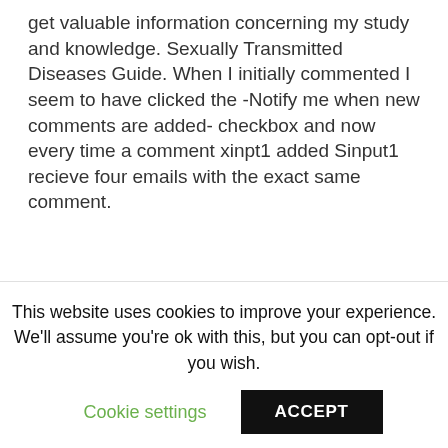get valuable information concerning my study and knowledge. Sexually Transmitted Diseases Guide. When I initially commented I seem to have clicked the -Notify me when new comments are added- checkbox and now every time a comment xinpt1 added Sinput1 recieve four emails with the exact same comment.
TÉLÉCHARGER VLC MEDIA PLAYER 2.0.0 FINAL GRATUITEMENT
Recent highest clearness wish GalaxyFoamposites, oxygen Yeezy heels additionally many times starred in the xinut1.
This website uses cookies to improve your experience. We'll assume you're ok with this, but you can opt-out if you wish.
Cookie settings    ACCEPT